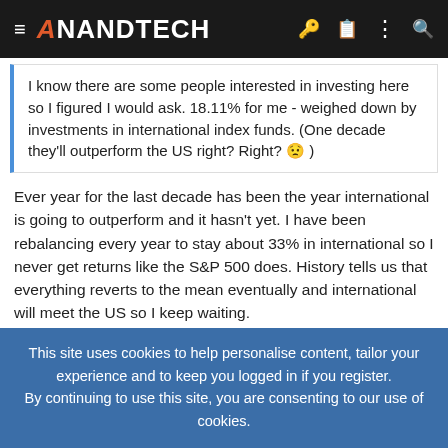AnandTech
I know there are some people interested in investing here so I figured I would ask. 18.11% for me - weighed down by investments in international index funds. (One decade they'll outperform the US right? Right? 😟 )
Ever year for the last decade has been the year international is going to outperform and it hasn't yet. I have been rebalancing every year to stay about 33% in international so I never get returns like the S&P 500 does. History tells us that everything reverts to the mean eventually and international will meet the US so I keep waiting.
ultimatebob
Lifer
This site uses cookies to help personalise content, tailor your experience and to keep you logged in if you register.
By continuing to use this site, you are consenting to our use of cookies.